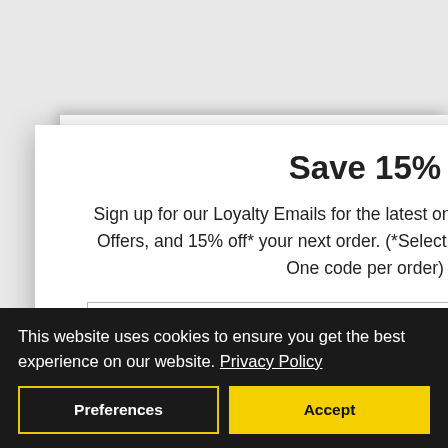Save 15%
Sign up for our Loyalty Emails for the latest on New Releases, Special Offers, and 15% off* your next order. (*Select brand exclusions apply. One code per order)
Enter your email address
JOIN US
By signing up, you agree to receive emails with Beautyhabit News, Special Offers, Promotions and messages tailored to your interests. You can unsubscribe at any time. You also
This website uses cookies to ensure you get the best experience on our website. Privacy Policy
Preferences
Accept